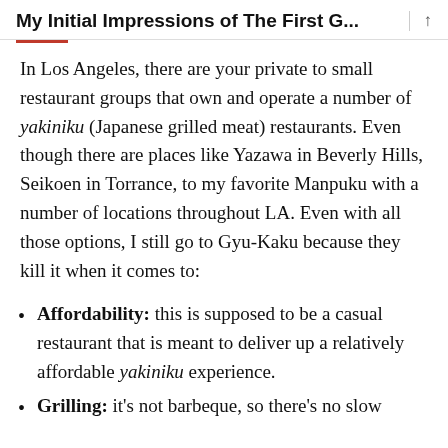My Initial Impressions of The First G...
In Los Angeles, there are your private to small restaurant groups that own and operate a number of yakiniku (Japanese grilled meat) restaurants. Even though there are places like Yazawa in Beverly Hills, Seikoen in Torrance, to my favorite Manpuku with a number of locations throughout LA. Even with all those options, I still go to Gyu-Kaku because they kill it when it comes to:
Affordability: this is supposed to be a casual restaurant that is meant to deliver up a relatively affordable yakiniku experience.
Grilling: it's not barbeque, so there's no slow